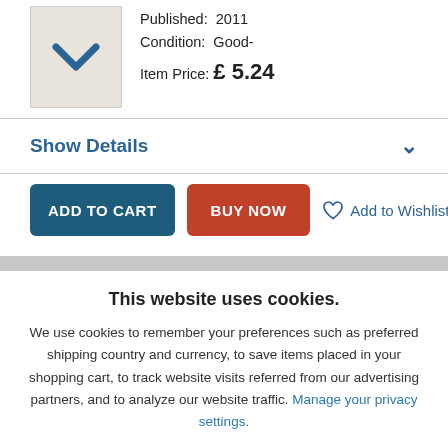[Figure (illustration): Book thumbnail with a blue chevron/arrow icon on a beige background]
Published: 2011
Condition: Good-
Item Price: £5.24
Show Details
ADD TO CART  BUY NOW  Add to Wishlist
This website uses cookies.
We use cookies to remember your preferences such as preferred shipping country and currency, to save items placed in your shopping cart, to track website visits referred from our advertising partners, and to analyze our website traffic. Manage your privacy settings.
AGREE AND CLOSE